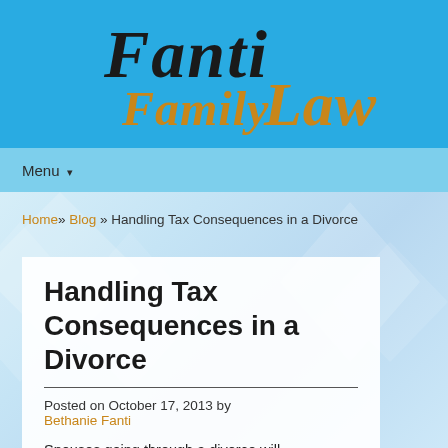[Figure (logo): Fanti Family Law logo in cursive script on a blue background. 'Fanti' in dark/black cursive, 'Family' and 'Law' in gold/orange cursive script.]
Menu ▾
Home » Blog » Handling Tax Consequences in a Divorce
Handling Tax Consequences in a Divorce
Posted on October 17, 2013 by Bethanie Fanti
Spouses going through a divorce will